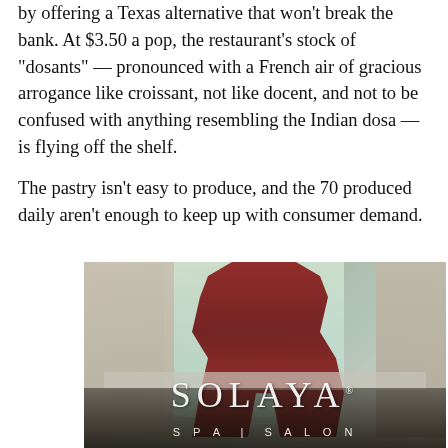by offering a Texas alternative that won't break the bank. At $3.50 a pop, the restaurant's stock of "dosants" — pronounced with a French air of gracious arrogance like croissant, not like docent, and not to be confused with anything resembling the Indian dosa — is flying off the shelf.

The pastry isn't easy to produce, and the 70 produced daily aren't enough to keep up with consumer demand.
[Figure (photo): Advertisement for Solaya Spa & Salon featuring a woman in a red sequined outfit seated against a light background with foliage visible through a window. Large white text reads 'SOLAYA' with 'SPA | SALON' below it.]